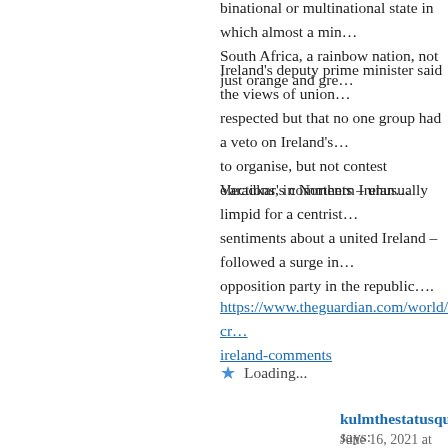binational or multinational state in which almost a min… South Africa, a rainbow nation, not just orange and gre…
Ireland's deputy prime minister said the views of union… respected but that no one group had a veto on Ireland's… to organise, but not contest elections, in Northern Irelan…
Varadkar's comments – unusually limpid for a centrist… sentiments about a united Ireland – followed a surge in… opposition party in the republic….
https://www.theguardian.com/world/2021/jun/16/uk-cr… ireland-comments
Loading...
kulmthestatusquo says:
June 16, 2021 at 1:03 pm